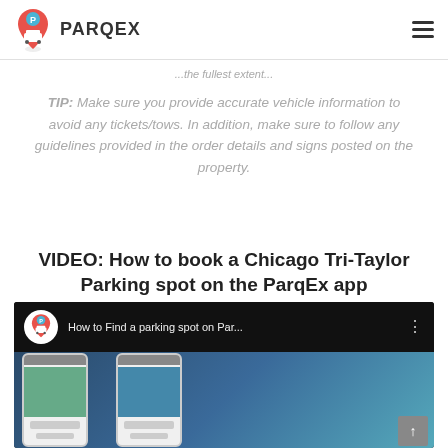PARQEX
...the fullest extent...
TIP: Make sure you provide accurate vehicle information to avoid any tickets/tows. In addition, make sure to follow any guidelines provided in the order details and signs posted on the property.
VIDEO: How to book a Chicago Tri-Taylor Parking spot on the ParqEx app
[Figure (screenshot): YouTube-style video thumbnail showing ParqEx logo and title 'How to Find a parking spot on Par...' with two smartphone mockups displaying the ParqEx app interface]